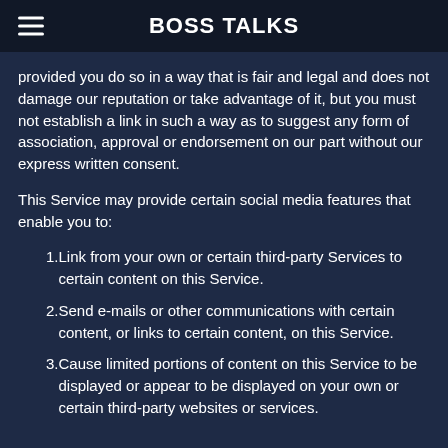BOSS TALKS
provided you do so in a way that is fair and legal and does not damage our reputation or take advantage of it, but you must not establish a link in such a way as to suggest any form of association, approval or endorsement on our part without our express written consent.
This Service may provide certain social media features that enable you to:
Link from your own or certain third-party Services to certain content on this Service.
Send e-mails or other communications with certain content, or links to certain content, on this Service.
Cause limited portions of content on this Service to be displayed or appear to be displayed on your own or certain third-party websites or services.